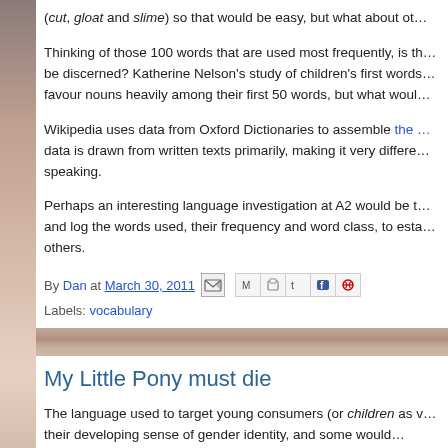(cut, gloat and slime) so that would be easy, but what about ot…
Thinking of those 100 words that are used most frequently, is th… be discerned? Katherine Nelson's study of children's first words… favour nouns heavily among their first 50 words, but what woul…
Wikipedia uses data from Oxford Dictionaries to assemble the … data is drawn from written texts primarily, making it very differe… speaking.
Perhaps an interesting language investigation at A2 would be t… and log the words used, their frequency and word class, to esta… others.
By Dan at March 30, 2011 [share icons] Labels: vocabulary
My Little Pony must die
The language used to target young consumers (or children as v… their developing sense of gender identity, and some would…